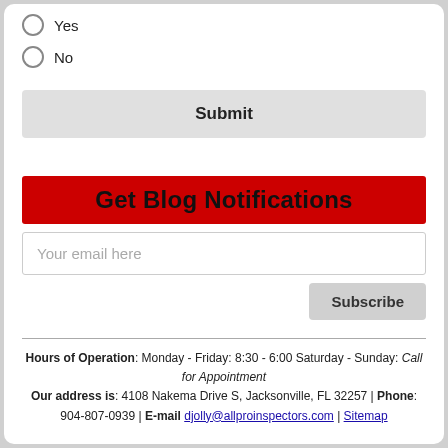Yes
No
Submit
Get Blog Notifications
Your email here
Subscribe
Hours of Operation: Monday - Friday: 8:30 - 6:00 Saturday - Sunday: Call for Appointment Our address is: 4108 Nakema Drive S, Jacksonville, FL 32257 | Phone: 904-807-0939 | E-mail djolly@allproinspectors.com | Sitemap